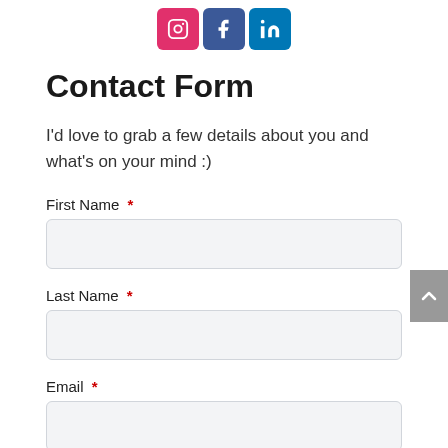[Figure (other): Social media icons: Instagram (pink/red), Facebook (blue), LinkedIn (blue)]
Contact Form
I'd love to grab a few details about you and what's on your mind :)
First Name *
Last Name *
Email *